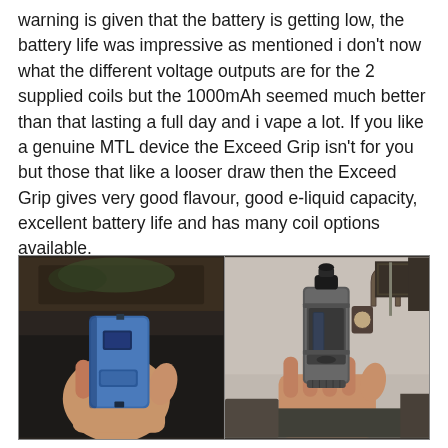warning is given that the battery is getting low, the battery life was impressive as mentioned i don't now what the different voltage outputs are for the 2 supplied coils but the 1000mAh seemed much better than that lasting a full day and i vape a lot. If you like a genuine MTL device the Exceed Grip isn't for you but those that like a looser draw then the Exceed Grip gives very good flavour, good e-liquid capacity, excellent battery life and has many coil options available.
[Figure (photo): Two side-by-side photos of a hand holding a vaping device (Exceed Grip). Left photo shows the front/side of a blue rectangular vape mod being held in a hand in a dimly lit room. Right photo shows the same or similar device from a different angle, showing the tank/atomizer on top, held in a hand against a wall background.]